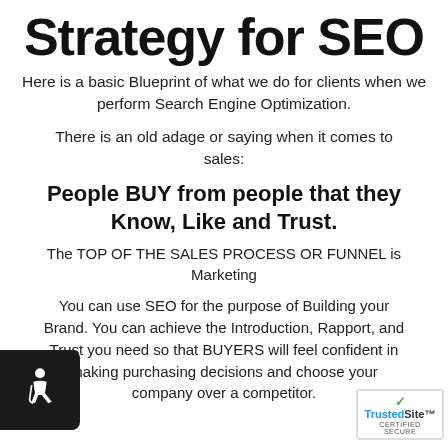Strategy for SEO
Here is a basic Blueprint of what we do for clients when we perform Search Engine Optimization.
There is an old adage or saying when it comes to sales:
People BUY from people that they Know, Like and Trust.
The TOP OF THE SALES PROCESS OR FUNNEL is Marketing
You can use SEO for the purpose of Building your Brand. You can achieve the Introduction, Rapport, and Trust you need so that BUYERS will feel confident in making purchasing decisions and choose your company over a competitor.
[Figure (logo): Accessibility icon — white wheelchair figure on dark background]
[Figure (logo): TrustedSite certified secure badge]